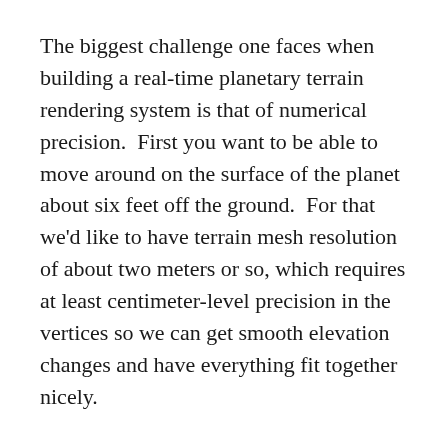The biggest challenge one faces when building a real-time planetary terrain rendering system is that of numerical precision.  First you want to be able to move around on the surface of the planet about six feet off the ground.  For that we'd like to have terrain mesh resolution of about two meters or so, which requires at least centimeter-level precision in the vertices so we can get smooth elevation changes and have everything fit together nicely.
An earth-sized planet has a radius of 6,378,100 meters or 637,810,000 centimeters.  That number contains nine significant digits, but unfortunately the 32-bit floating point data type only stores approximately seven.